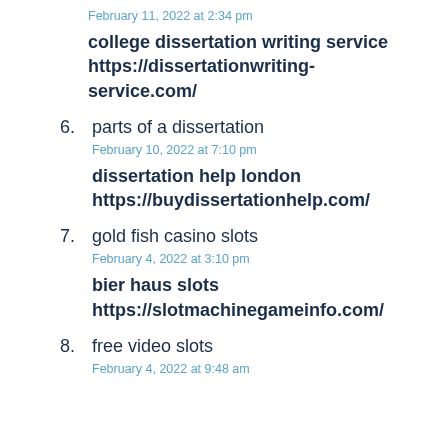February 11, 2022 at 2:34 pm
college dissertation writing service https://dissertationwriting-service.com/
6. parts of a dissertation
February 10, 2022 at 7:10 pm
dissertation help london https://buydissertationhelp.com/
7. gold fish casino slots
February 4, 2022 at 3:10 pm
bier haus slots https://slotmachinegameinfo.com/
8. free video slots
February 4, 2022 at 9:48 am